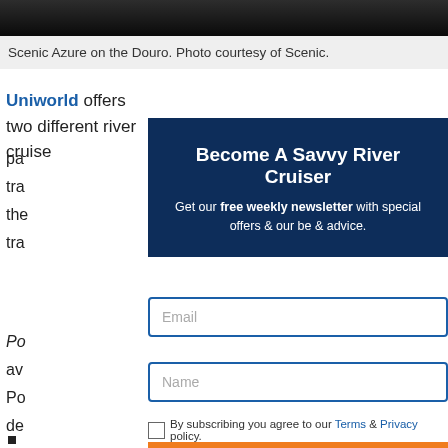[Figure (photo): Dark water surface photo strip at top of page (Scenic Azure on the Douro river)]
Scenic Azure on the Douro. Photo courtesy of Scenic.
Uniworld offers two different river cruise packages... travel... the... travel...
Become A Savvy River Cruiser
Get our free weekly newsletter with special offers & our be & advice.
Email
Name
By subscribing you agree to our Terms & Privacy policy.
SUBSCRIBE